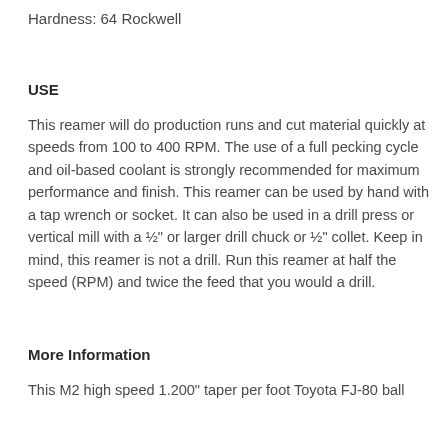Hardness: 64 Rockwell
USE
This reamer will do production runs and cut material quickly at speeds from 100 to 400 RPM. The use of a full pecking cycle and oil-based coolant is strongly recommended for maximum performance and finish. This reamer can be used by hand with a tap wrench or socket. It can also be used in a drill press or vertical mill with a ½" or larger drill chuck or ½" collet. Keep in mind, this reamer is not a drill. Run this reamer at half the speed (RPM) and twice the feed that you would a drill.
More Information
This M2 high speed 1.200" taper per foot Toyota FJ-80 ball